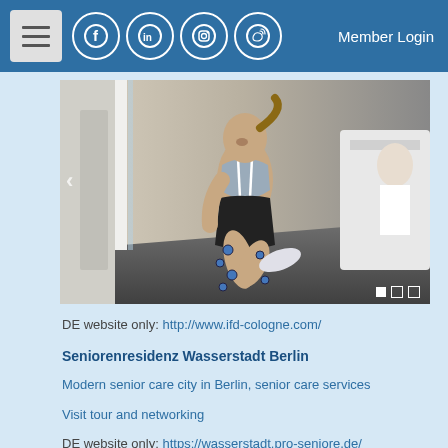Member Login
[Figure (photo): Woman running on treadmill with motion-capture markers attached to her legs and knees, wearing sports bra and black shorts, in a lab/gym setting]
DE website only: http://www.ifd-cologne.com/
Seniorenresidenz Wasserstadt Berlin
Modern senior care city in Berlin, senior care services
Visit tour and networking
DE website only: https://wasserstadt.pro-seniore.de/